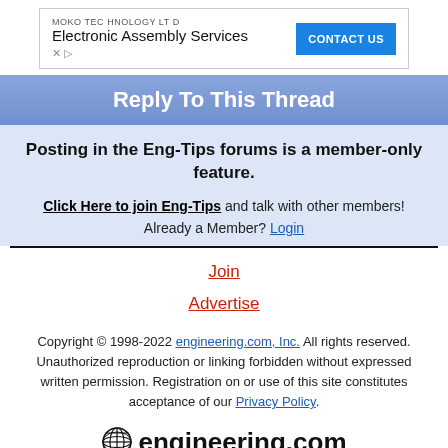[Figure (infographic): Advertisement banner for MOKO Technology Ltd Electronic Assembly Services with a blue CONTACT US button and small X and play icons]
Reply To This Thread
Posting in the Eng-Tips forums is a member-only feature.
Click Here to join Eng-Tips and talk with other members! Already a Member? Login
Join
Advertise
Copyright © 1998-2022 engineering.com, Inc. All rights reserved. Unauthorized reproduction or linking forbidden without expressed written permission. Registration on or use of this site constitutes acceptance of our Privacy Policy.
[Figure (logo): engineering.com logo with globe icon]